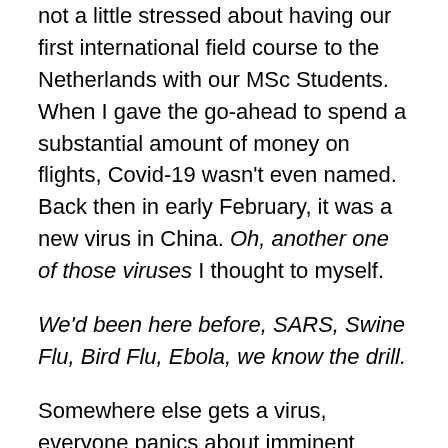not a little stressed about having our first international field course to the Netherlands with our MSc Students. When I gave the go-ahead to spend a substantial amount of money on flights, Covid-19 wasn't even named. Back then in early February, it was a new virus in China. Oh, another one of those viruses I thought to myself.
We'd been here before, SARS, Swine Flu, Bird Flu, Ebola, we know the drill.
Somewhere else gets a virus, everyone panics about imminent doom, it barely reaches our shores and eventually they get on top of it, and it all goes away. Nievity. Nievity on a vast global scale. I guess that outdated view of the world was our downfall, we, at least in the UK have had so many false dawns of pandemics that in our collective minds it became something that really